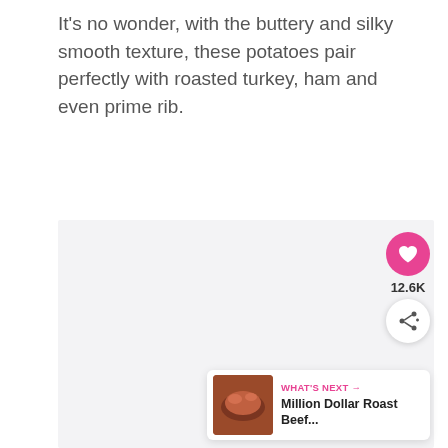It's no wonder, with the buttery and silky smooth texture, these potatoes pair perfectly with roasted turkey, ham and even prime rib.
[Figure (photo): Large light gray placeholder image area for a food photo, with social interaction buttons (heart/like and share) overlaid at bottom right, and a 'What's Next' card showing 'Million Dollar Roast Beef...' with a thumbnail.]